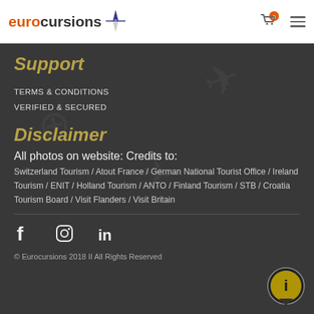eurocursions
Support
TERMS & CONDITIONS
VERIFIED & SECURED
Disclaimer
All photos on website: Credits to:
Switzerland Tourism / Atout France / German National Tourist Office / Ireland Tourism / ENIT / Holland Tourism / ANTO / Finland Tourism / STB / Croatia Tourism Board / Visit Flanders / Visit Britain
[Figure (logo): Facebook, Instagram, LinkedIn social media icons]
© Eurocursions 2018 II All Rights Reserved